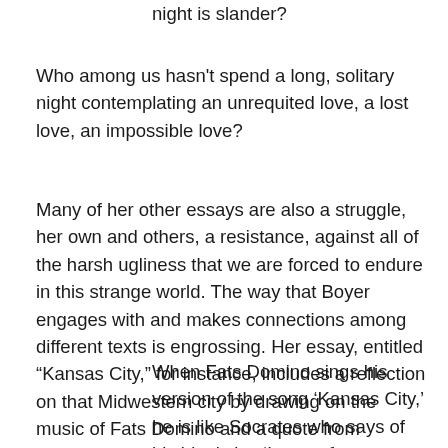night is slander?
Who among us hasn't spend a long, solitary night contemplating an unrequited love, a lost love, an impossible love?
Many of her other essays are also a struggle, her own and others, a resistance, against all of the harsh ugliness that we are forced to endure in this strange world. The way that Boyer engages with and makes connections among different texts is engrossing. Her essay, entitled “Kansas City,” for instance, includes a reflection on that Midwestern city by drawing on the music of Fats Domino and a quote from Socrates:
When Fats Domino sings his version of the song ‘Kansas City,’ he is like Socrates who says of his ideal city: ‘Let me feast my mind with the dream